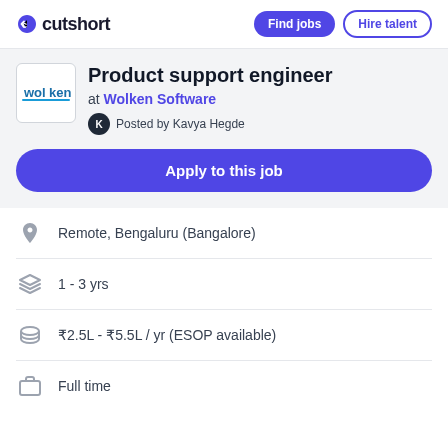cutshort | Find jobs | Hire talent
Product support engineer
at Wolken Software
Posted by Kavya Hegde
Apply to this job
Remote, Bengaluru (Bangalore)
1 - 3 yrs
₹2.5L - ₹5.5L / yr (ESOP available)
Full time